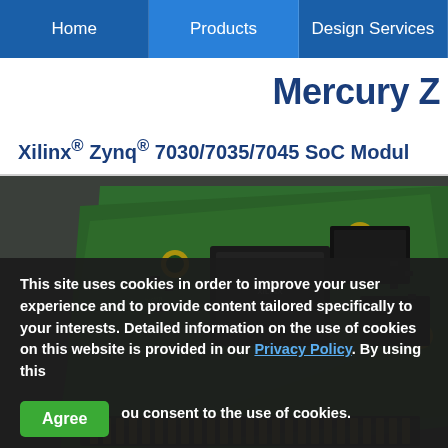Home | Products | Design Services
Mercury Z
Xilinx® Zynq® 7030/7035/7045 SoC Modul
[Figure (photo): Photo of an Enclustra Mercury ZX SoC module PCB — a small green circuit board with Xilinx Zynq FPGA chip, DRAM memory modules, and mounting holes, shown at an angle against a dark background.]
This site uses cookies in order to improve your user experience and to provide content tailored specifically to your interests. Detailed information on the use of cookies on this website is provided in our Privacy Policy. By using this [Agree] you consent to the use of cookies.